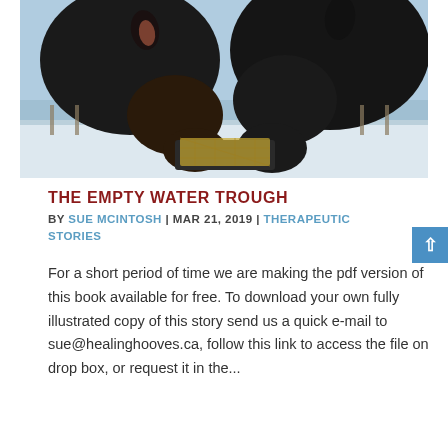[Figure (photo): Two dark horses facing each other eating hay from a net feeder, with a snowy field and blue sky in the background.]
THE EMPTY WATER TROUGH
BY SUE MCINTOSH | MAR 21, 2019 | THERAPEUTIC STORIES
For a short period of time we are making the pdf version of this book available for free. To download your own fully illustrated copy of this story send us a quick e-mail to sue@healinghooves.ca, follow this link to access the file on drop box, or request it in the...